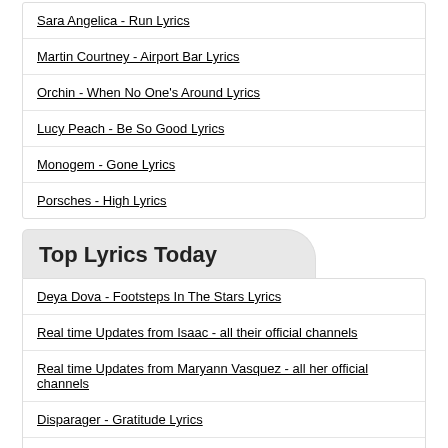Sara Angelica - Run Lyrics
Martin Courtney - Airport Bar Lyrics
Orchin - When No One's Around Lyrics
Lucy Peach - Be So Good Lyrics
Monogem - Gone Lyrics
Porsches - High Lyrics
Top Lyrics Today
Deya Dova - Footsteps In The Stars Lyrics
Real time Updates from Isaac - all their official channels
Real time Updates from Maryann Vasquez - all her official channels
Disparager - Gratitude Lyrics
Elle King - Ex's & Oh's Lyrics
Lili K - Interlude Lyrics
Fuzz - What's In My Head Lyrics